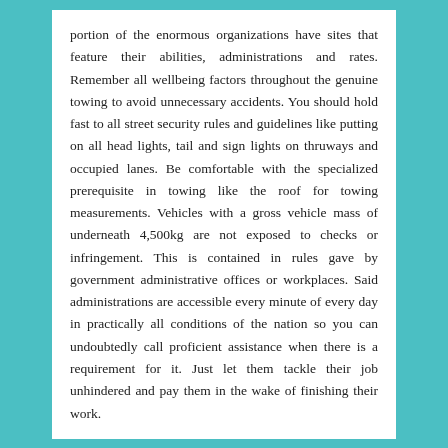portion of the enormous organizations have sites that feature their abilities, administrations and rates. Remember all wellbeing factors throughout the genuine towing to avoid unnecessary accidents. You should hold fast to all street security rules and guidelines like putting on all head lights, tail and sign lights on thruways and occupied lanes. Be comfortable with the specialized prerequisite in towing like the roof for towing measurements. Vehicles with a gross vehicle mass of underneath 4,500kg are not exposed to checks or infringement. This is contained in rules gave by government administrative offices or workplaces. Said administrations are accessible every minute of every day in practically all conditions of the nation so you can undoubtedly call proficient assistance when there is a requirement for it. Just let them tackle their job unhindered and pay them in the wake of finishing their work.